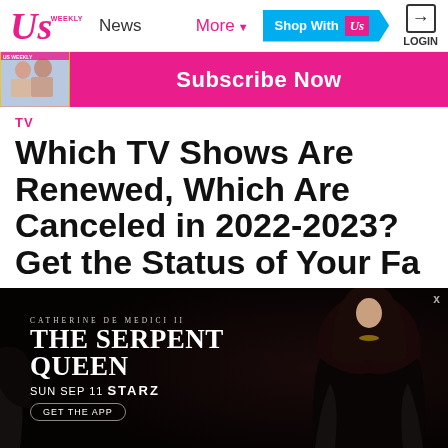Us Weekly — News | More | Shop With Us | LOGIN
[Figure (screenshot): Subscribe Now banner with magazine cover thumbnail]
TV
Which TV Shows Are Renewed, Which Are Canceled in 2022-2023? Get the Status of Your Favorite Series
[Figure (advertisement): The Serpent Queen ad — Catherine de Medici II, SUN SEP 11, STARZ, GET THE APP — woman in black feathered costume]